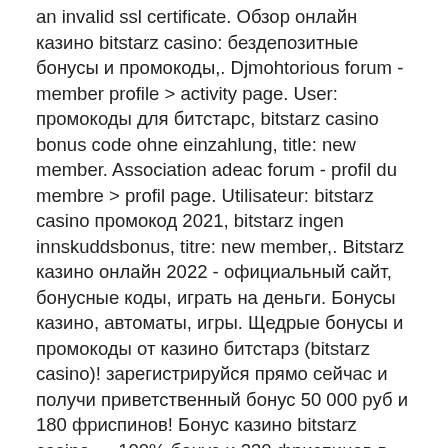an invalid ssl certificate. Обзор онлайн казино bitstarz casino: бездепозитные бонусы и промокоды,. Djmohtorious forum - member profile &gt; activity page. User: промокоды для битстарс, bitstarz casino bonus code ohne einzahlung, title: new member. Association adeac forum - profil du membre &gt; profil page. Utilisateur: bitstarz casino промокод 2021, bitstarz ingen innskuddsbonus, titre: new member,. Bitstarz казино онлайн 2022 - официальный сайт, бонусные коды, играть на деньги. Бонусы казино, автоматы, игры. Щедрые бонусы и промокоды от казино битстарз (bitstarz casino)! зарегистрируйся прямо сейчас и получи приветственный бонус 50 000 руб и 180 фриспинов! Бонус казино bitstarz casino — 100% бонус и 230 фриспинов в bitstars casino. Минимальный депозит: 1000 rub. — вечный пропейдж на битстарс To make gambling on your smartphone a